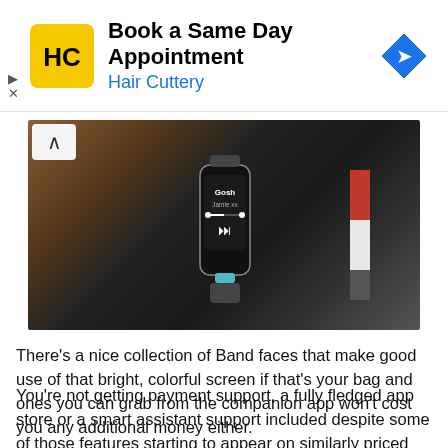[Figure (other): Hair Cuttery advertisement banner with logo, 'Book a Same Day Appointment' headline, and navigation arrow icon]
[Figure (photo): Close-up photo of a wrist wearing a fitness band/tracker showing a music playback screen with 'Gosh' and 'Jamie xx' displayed, with media control buttons. A beaded bracelet is also visible on the wrist.]
There's a nice collection of Band faces that make good use of that bright, colorful screen if that's your bag and ones you can grab from the companion app won't cost you any additional money either.
You're not getting payment support, a fully fledged app store or a smart assistant support included despite some of those features starting to appear on similarly priced trackers.